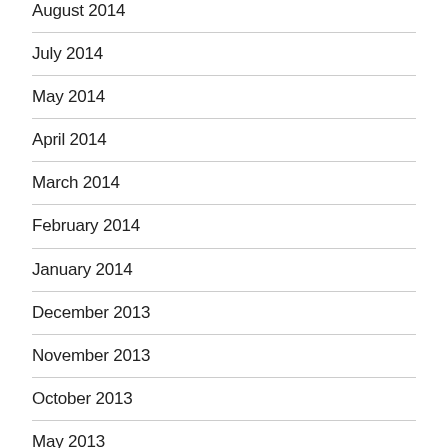August 2014
July 2014
May 2014
April 2014
March 2014
February 2014
January 2014
December 2013
November 2013
October 2013
May 2013
April 2013